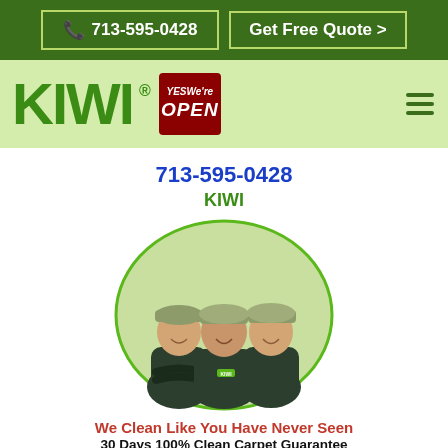📞 713-595-0428   Get Free Quote >
[Figure (logo): KIWI logo in large green bold letters with registered trademark symbol, Yes We're Open badge in red, and hamburger menu icon]
713-595-0428
KIWI
[Figure (photo): Three KIWI service workers in dark uniforms and caps, smiling, inside a green oval/circle frame]
We Clean Like You Have Never Seen
30 Days 100% Clean Carpet Guarantee
KIWI Wood Floor Cleaning
Seabrook, TX